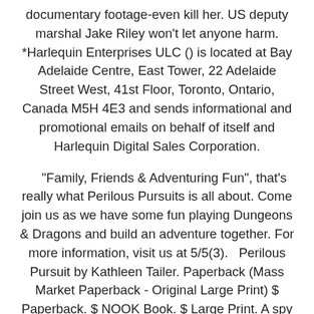documentary footage-even kill her. US deputy marshal Jake Riley won't let anyone harm. *Harlequin Enterprises ULC () is located at Bay Adelaide Centre, East Tower, 22 Adelaide Street West, 41st Floor, Toronto, Ontario, Canada M5H 4E3 and sends informational and promotional emails on behalf of itself and Harlequin Digital Sales Corporation.
"Family, Friends & Adventuring Fun", that's really what Perilous Pursuits is all about. Come join us as we have some fun playing Dungeons & Dragons and build an adventure together. For more information, visit us at 5/5(3).   Perilous Pursuit by Kathleen Tailer. Paperback (Mass Market Paperback - Original Large Print) $ Paperback. $ NOOK Book. $ Large Print. A spy is forced to come in from the cold in the first book in The Gates miniseries by award-winning author